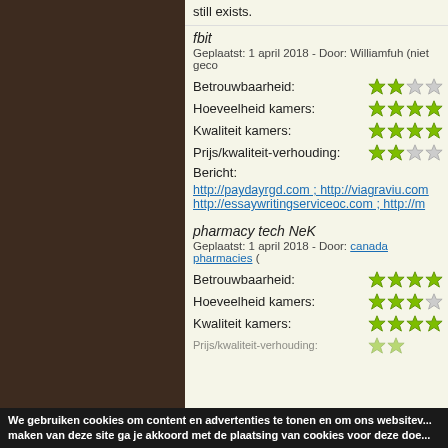still exists.
fbit
Geplaatst: 1 april 2018 - Door: Williamfuh (niet geco...
Betrouwbaarheid:
Hoeveelheid kamers:
Kwaliteit kamers:
Prijs/kwaliteit-verhouding:
Bericht:
http://paydayrgd.com ; http://viagraviu.com http://essaywritingserviceoc.com ; http://m...
pharmacy tech NeK
Geplaatst: 1 april 2018 - Door: canada pharmacies ...
Betrouwbaarheid:
Hoeveelheid kamers:
Kwaliteit kamers:
Prijs/kwaliteit-verhouding:
We gebruiken cookies om content en advertenties te tonen en om ons websitev... maken van deze site ga je akkoord met de plaatsing van cookies voor deze doe...